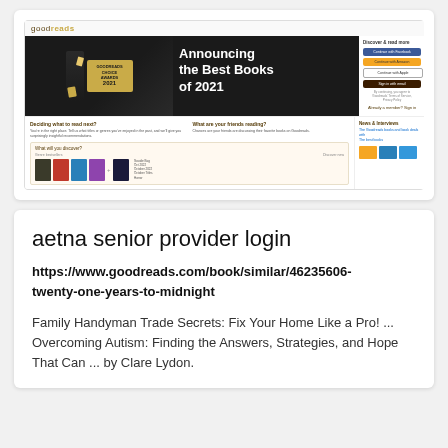[Figure (screenshot): Goodreads website screenshot showing 'Announcing the Best Books of 2021' hero banner with sign-in options (Facebook, Amazon, Apple, Email), and sections for discovering books, friends reading, and news.]
aetna senior provider login
https://www.goodreads.com/book/similar/46235606-twenty-one-years-to-midnight
Family Handyman Trade Secrets: Fix Your Home Like a Pro! ... Overcoming Autism: Finding the Answers, Strategies, and Hope That Can ... by Clare Lydon.